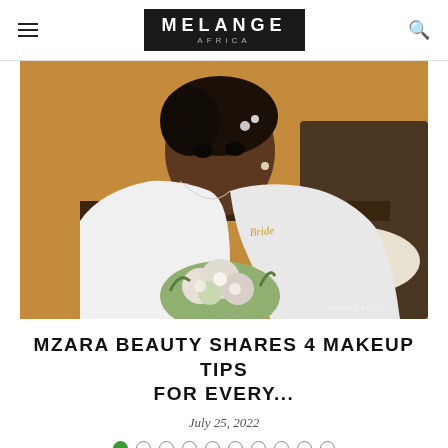MELANGE Africa
[Figure (photo): A bride in a white robe labeled 'Bride' holding a bouquet of flowers, sitting in a room with an orange/warm background and a dark wooden headboard]
MZARA BEAUTY SHARES 4 MAKEUP TIPS FOR EVERY...
July 25, 2022
● ○ ○ ○ ○ ○ ○ ○ ○ ○